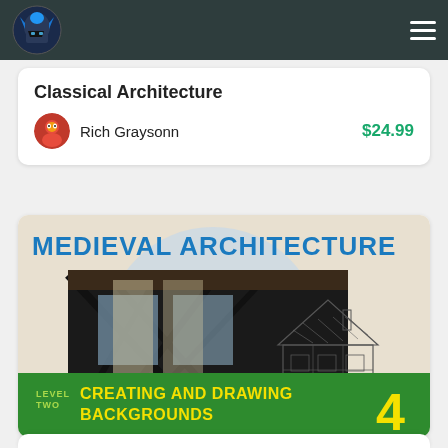Navigation bar with logo and menu icon
Classical Architecture
Rich Graysonn  $24.99
[Figure (illustration): Medieval Architecture course card with photo of timber-frame building and sketch of medieval house. Text reads: MEDIEVAL ARCHITECTURE, LEVEL TWO CREATING AND DRAWING BACKGROUNDS 4]